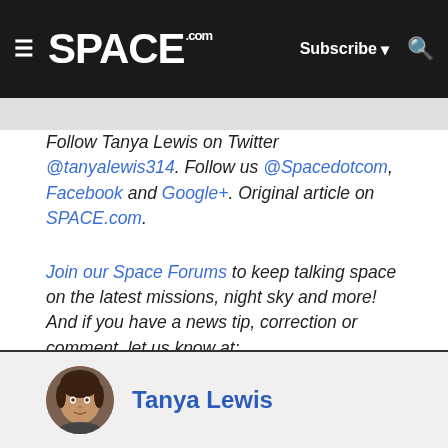SPACE.com | Subscribe | Search
Follow Tanya Lewis on Twitter @tanyalewis314. Follow us @Spacedotcom, Facebook and Google+. Original article on SPACE.com.
Join our Space Forums to keep talking space on the latest missions, night sky and more! And if you have a news tip, correction or comment, let us know at: community@space.com.
Tanya Lewis